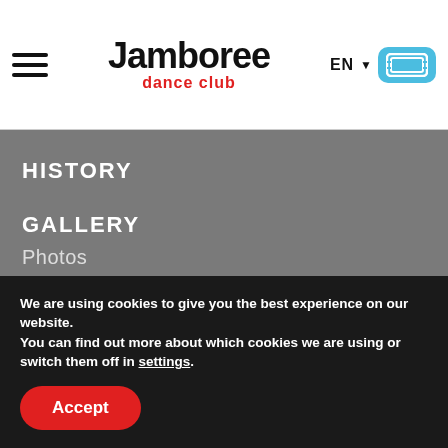Jamboree dance club — EN
HISTORY
GALLERY
Photos
Videos
CONTACT
Contact
We are using cookies to give you the best experience on our website.
You can find out more about which cookies we are using or switch them off in settings.
Accept